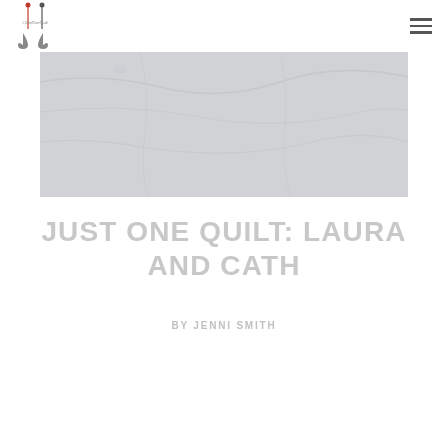#JustOneQuilt logo and navigation menu
[Figure (photo): A light gray fabric or quilt background image showing soft folds and texture]
JUST ONE QUILT: LAURA AND CATH
BY JENNI SMITH